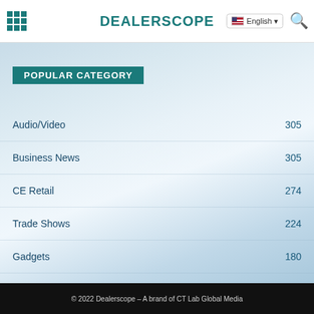DEALERSCOPE
POPULAR CATEGORY
Audio/Video 305
Business News 305
CE Retail 274
Trade Shows 224
Gadgets 180
Appliances 75
Smart Home 67
© 2022 Dealerscope – A brand of CT Lab Global Media